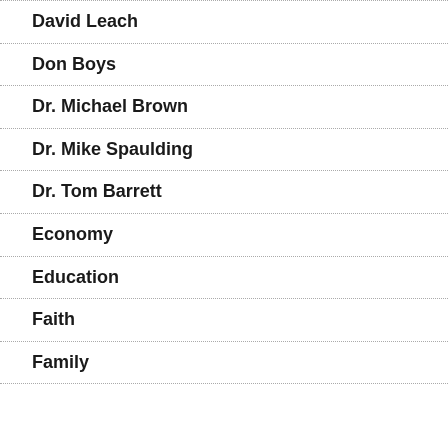David Leach
Don Boys
Dr. Michael Brown
Dr. Mike Spaulding
Dr. Tom Barrett
Economy
Education
Faith
Family